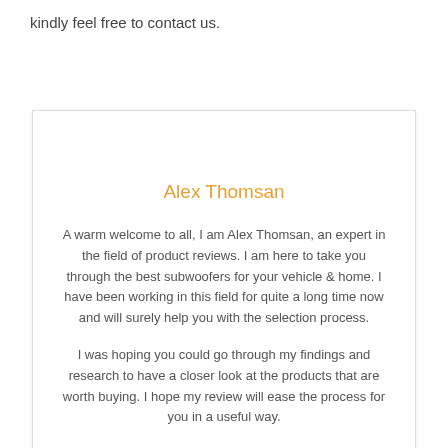kindly feel free to contact us.
Alex Thomsan
A warm welcome to all, I am Alex Thomsan, an expert in the field of product reviews. I am here to take you through the best subwoofers for your vehicle & home. I have been working in this field for quite a long time now and will surely help you with the selection process.
I was hoping you could go through my findings and research to have a closer look at the products that are worth buying. I hope my review will ease the process for you in a useful way.